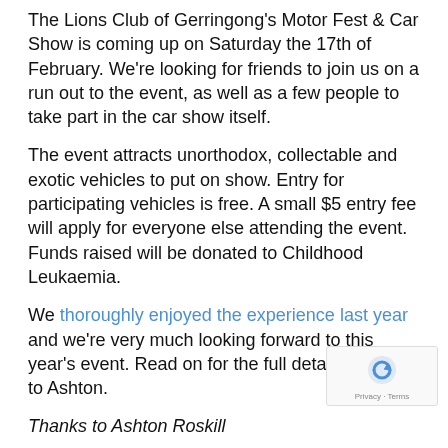The Lions Club of Gerringong's Motor Fest & Car Show is coming up on Saturday the 17th of February. We're looking for friends to join us on a run out to the event, as well as a few people to take part in the car show itself.
The event attracts unorthodox, collectable and exotic vehicles to put on show. Entry for participating vehicles is free. A small $5 entry fee will apply for everyone else attending the event. Funds raised will be donated to Childhood Leukaemia.
We thoroughly enjoyed the experience last year and we're very much looking forward to this year's event. Read on for the full details, thanks to Ashton.
Thanks to Ashton Roskill
Happy New Year!
The first Club Lotus Australia drive day of 2018 is